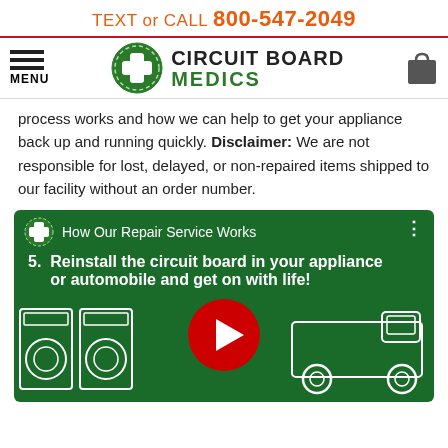TEXT or CALL 800-547-2049
[Figure (logo): Circuit Board Medics logo with hamburger menu icon on left and shopping bag icon on right]
process works and how we can help to get your appliance back up and running quickly. Disclaimer: We are not responsible for lost, delayed, or non-repaired items shipped to our facility without an order number.
[Figure (screenshot): YouTube video thumbnail for 'How Our Repair Service Works' showing step 5: Reinstall the circuit board in your appliance or automobile and get on with life! with icons of washing machines, a play button, and a pickup truck on a dark green background.]